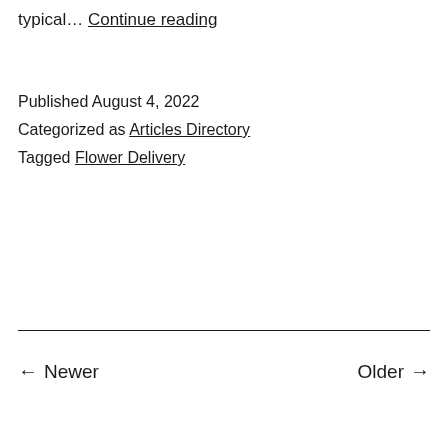typical… Continue reading
Published August 4, 2022
Categorized as Articles Directory
Tagged Flower Delivery
← Newer    Older →